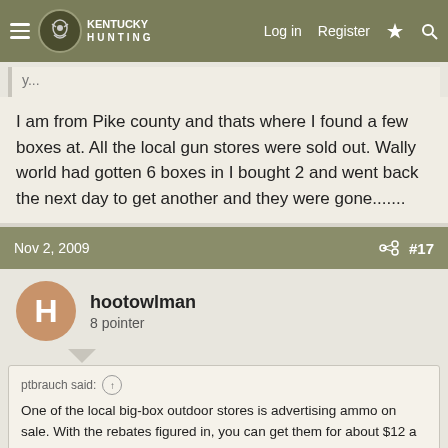Kentucky Hunting | Log in | Register
I am from Pike county and thats where I found a few boxes at. All the local gun stores were sold out. Wally world had gotten 6 boxes in I bought 2 and went back the next day to get another and they were gone.......
Nov 2, 2009 #17
hootowlman
8 pointer
ptbrauch said:
One of the local big-box outdoor stores is advertising ammo on sale. With the rebates figured in, you can get them for about $12 a box of Remington, Winchester, and Federal.